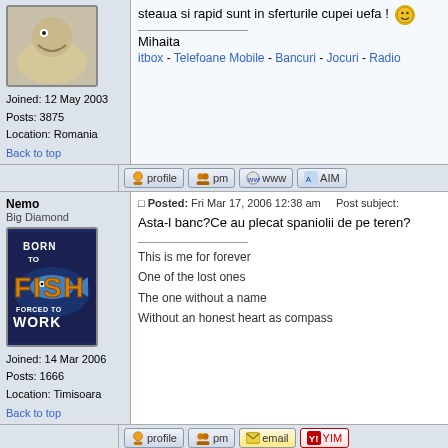Joined: 12 May 2003
Posts: 3875
Location: Romania
steaua si rapid sunt in sferturile cupei uefa !
Mihaita
itbox - Telefoane Mobile - Bancuri - Jocuri - Radio
Back to top
Nemo
Big Diamond
Joined: 14 Mar 2006
Posts: 1666
Location: Timisoara
Posted: Fri Mar 17, 2006 12:38 am    Post subject:
Asta-l banc?Ce au plecat spaniolii de pe teren?
This is me for forever
One of the lost ones
The one without a name
Without an honest heart as compass
Back to top
FireEyes
Gazda voastra
Posted: Fri Mar 17, 2006 2:04 am    Post subject:
Banc ? Nici gand!
Stirea 1